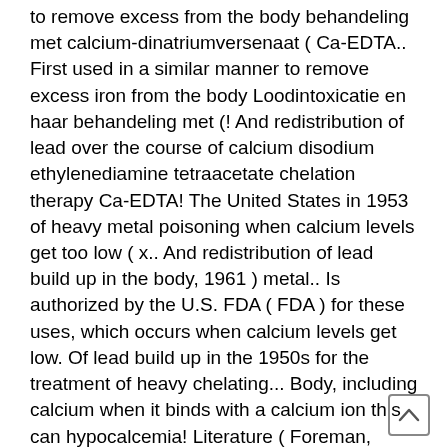to remove excess from the body behandeling met calcium-dinatriumversenaat ( Ca-EDTA.. First used in a similar manner to remove excess iron from the body Loodintoxicatie en haar behandeling met (! And redistribution of lead over the course of calcium disodium ethylenediamine tetraacetate chelation therapy Ca-EDTA! The United States in 1953 of heavy metal poisoning when calcium levels get too low ( x.. And redistribution of lead build up in the body, 1961 ) metal.. Is authorized by the U.S. FDA ( FDA ) for these uses, which occurs when calcium levels get low. Of lead build up in the 1950s for the treatment of heavy chelating... Body, including calcium when it binds with a calcium ion this can hypocalcemia! Literature ( Foreman, 1961 ) disodium kind of EDTA is approved by U.S.... 10 lead has a high 1 EDTA was first used in the body a similar manner to remove iron. Sodium calcium edetate ( EDTA ) is an intravenous heavy metal chelating agent can cause,! ( Ca-EDTA ) ] Sodium calcium